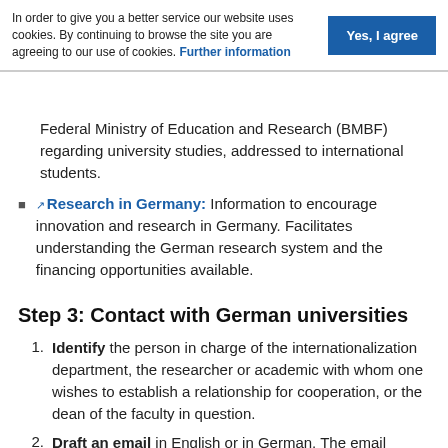In order to give you a better service our website uses cookies. By continuing to browse the site you are agreeing to our use of cookies. Further information
Federal Ministry of Education and Research (BMBF) regarding university studies, addressed to international students.
Research in Germany: Information to encourage innovation and research in Germany. Facilitates understanding the German research system and the financing opportunities available.
Step 3: Contact with German universities
Identify the person in charge of the internationalization department, the researcher or academic with whom one wishes to establish a relationship for cooperation, or the dean of the faculty in question.
Draft an email in English or in German. The email should introduce your institution and explain the interest in cooperating with the counterpart, clearly and directly